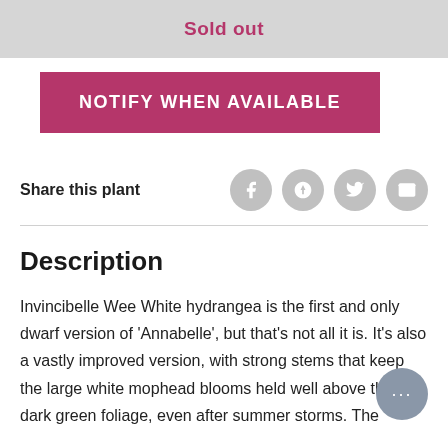Sold out
NOTIFY WHEN AVAILABLE
Share this plant
Description
Invincibelle Wee White hydrangea is the first and only dwarf version of 'Annabelle', but that's not all it is. It's also a vastly improved version, with strong stems that keep the large white mophead blooms held well above the dark green foliage, even after summer storms. The